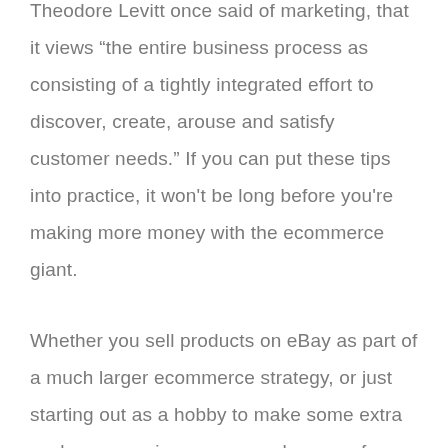Theodore Levitt once said of marketing, that it views “the entire business process as consisting of a tightly integrated effort to discover, create, arouse and satisfy customer needs.” If you can put these tips into practice, it won't be long before you're making more money with the ecommerce giant.
Whether you sell products on eBay as part of a much larger ecommerce strategy, or just starting out as a hobby to make some extra cash, you can improve your chances of success